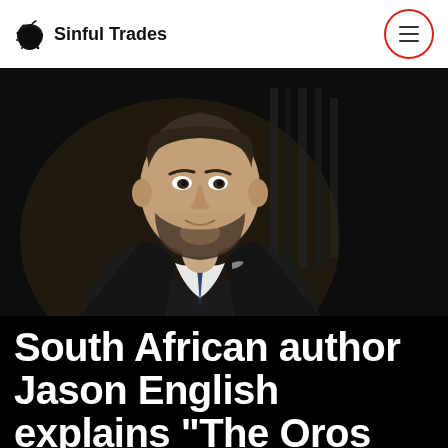Sinful Trades
[Figure (photo): Professional headshot of a man in a dark suit and blue tie, with a dark blurred background. He has short dark hair and a beard.]
South African author Jason English explains “The Oros Effect” and